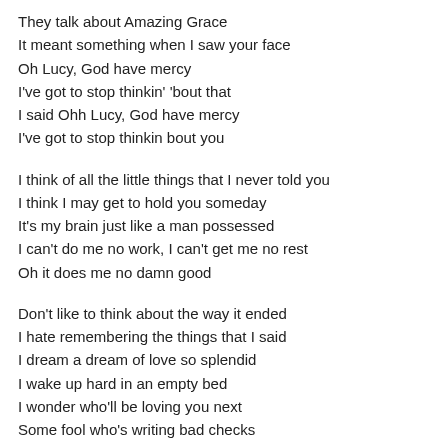They talk about Amazing Grace
It meant something when I saw your face
Oh Lucy, God have mercy
I've got to stop thinkin' 'bout that
I said Ohh Lucy, God have mercy
I've got to stop thinkin bout you

I think of all the little things that I never told you
I think I may get to hold you someday
It's my brain just like a man possessed
I can't do me no work, I can't get me no rest
Oh it does me no damn good

Don't like to think about the way it ended
I hate remembering the things that I said
I dream a dream of love so splendid
I wake up hard in an empty bed
I wonder who'll be loving you next
Some fool who's writing bad checks